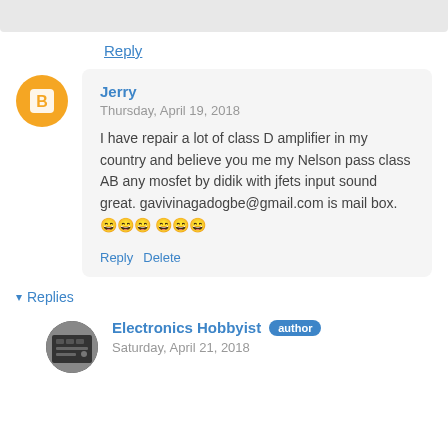Reply
Jerry
Thursday, April 19, 2018
I have repair a lot of class D amplifier in my country and believe you me my Nelson pass class AB any mosfet by didik with jfets input sound great. gavivinagadogbe@gmail.com is mail box. 😄😄😄😄😄😄
Reply  Delete
Replies
[Figure (photo): Avatar photo of Electronics Hobbyist, showing a circuit board]
Electronics Hobbyist  author
Saturday, April 21, 2018